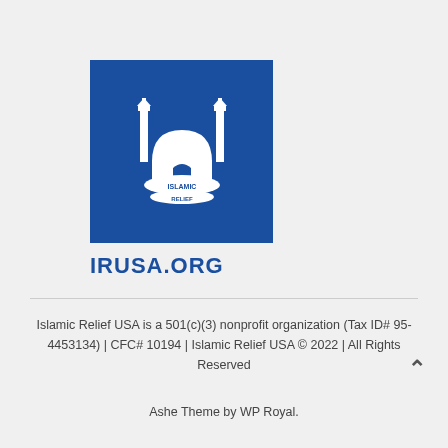[Figure (logo): Islamic Relief USA logo — blue square background with white mosque/minaret illustration and 'ISLAMIC RELIEF' text in white, followed by 'IRUSA.ORG' in blue text below]
Islamic Relief USA is a 501(c)(3) nonprofit organization (Tax ID# 95-4453134) | CFC# 10194 | Islamic Relief USA © 2022 | All Rights Reserved
Ashe Theme by WP Royal.